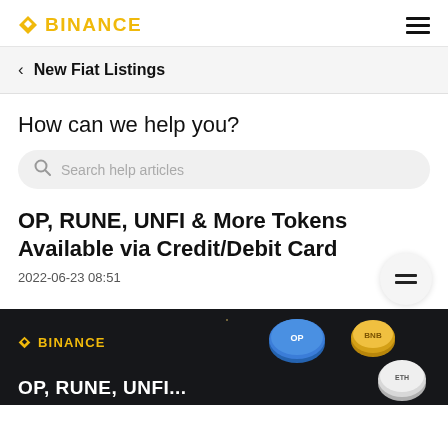BINANCE
< New Fiat Listings
How can we help you?
Search help articles
OP, RUNE, UNFI & More Tokens Available via Credit/Debit Card
2022-06-23 08:51
[Figure (illustration): Dark banner with Binance logo in gold, showing crypto coins (blue, gold, white) and text 'OP, RUNE, UNFI...' on a dark background]